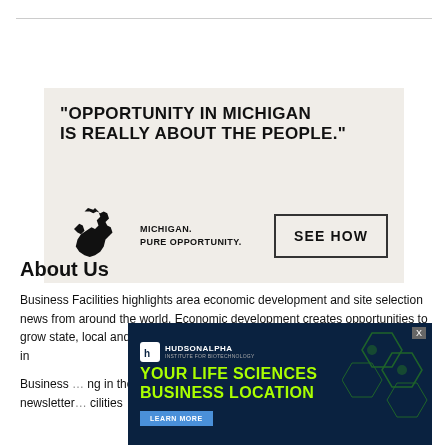[Figure (advertisement): Michigan Pure Opportunity ad: headline 'OPPORTUNITY IN MICHIGAN IS REALLY ABOUT THE PEOPLE.' with Michigan state map silhouette, tagline 'MICHIGAN. PURE OPPORTUNITY.' and a SEE HOW button]
About Us
Business Facilities highlights area economic development and site selection news from around the world. Economic development creates opportunities to grow state, local and metro areas, which are essential for economic growth, in…
Business … ng in the site selec… newsletter… cilities
[Figure (advertisement): HudsonAlpha Institute for Biotechnology ad: 'YOUR LIFE SCIENCES BUSINESS LOCATION' with LEARN MORE button on dark blue background with hexagon pattern and scientist photo]